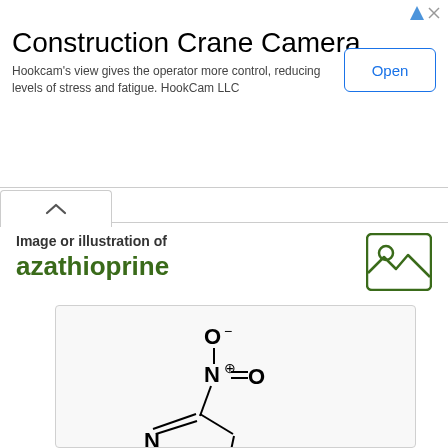[Figure (other): Advertisement banner for Construction Crane Camera by HookCam LLC with an Open button]
Image or illustration of
azathioprine
[Figure (illustration): Chemical structure diagram of azathioprine showing a nitroimidazole ring connected via sulfur to a purine (hypoxanthine) ring system, with N-methyl group and nitro group (O-N+=O with O- charge)]